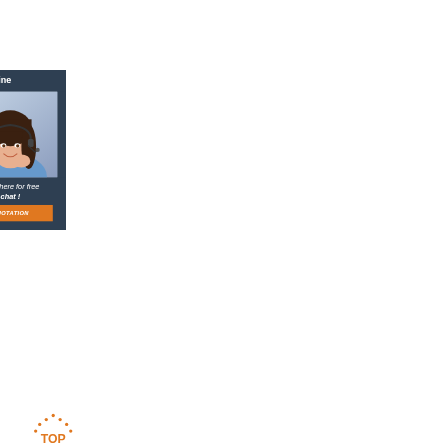incorporated into the collections, thus enhancing the leather's malleability and ...
[Figure (infographic): Orange 'Get Price' button and a 24/7 Online chat widget showing a woman with a headset, 'Click here for free chat!' text, and an orange QUOTATION button]
20 British Handbag Brands Worth Buying
2020-12-11u2002·u2002The satchel designs are based on the Cambridge and Oxford satchels. The other handbags the brand produces include the batchel (briefcase and satchel combo), classic top clasp handbag, tiny satchel, tote, doctor's bag, and clutch purses. The ...
[Figure (logo): Orange TOP badge/logo with dot-border triangle design]